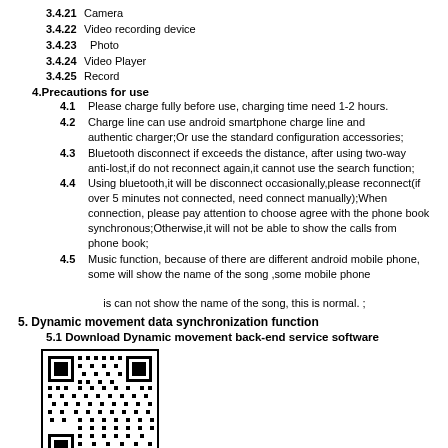3.4.21 Camera
3.4.22 Video recording device
3.4.23 Photo
3.4.24 Video Player
3.4.25 Record
4.Precautions for use
4.1 Please charge fully before use, charging time need 1-2 hours.
4.2 Charge line can use android smartphone charge line and authentic charger;Or use the standard configuration accessories;
4.3 Bluetooth disconnect if exceeds the distance, after using two-way anti-lost,if do not reconnect again,it cannot use the search function;
4.4 Using bluetooth,it will be disconnect occasionally,please reconnect(if over 5 minutes not connected, need connect manually);When connection, please pay attention to choose agree with the phone book synchronous;Otherwise,it will not be able to show the calls from phone book;
4.5 Music function, because of there are different android mobile phone, some will show the name of the song ,some mobile phone is can not show the name of the song, this is normal. ;
5. Dynamic movement data synchronization function
5.1 Download Dynamic movement back-end service software
[Figure (other): QR code for Dynamic movement APK software download]
( The Dynamic movement APK software )
Method one: scan the QR code, installation Dynamic movement background services software;Installation method as above ;
Method Two: Log in background services website: www.fundo.cc